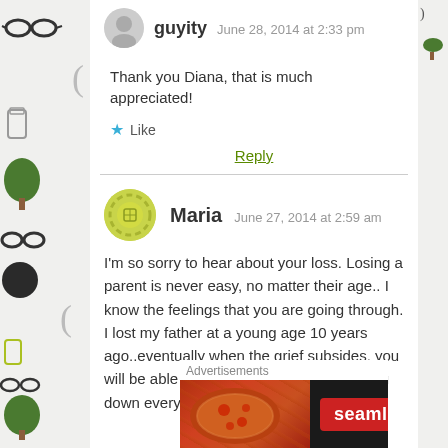guyity  June 28, 2014 at 2:33 pm
Thank you Diana, that is much appreciated!
★ Like
Reply
Maria  June 27, 2014 at 2:59 am
I'm so sorry to hear about your loss. Losing a parent is never easy, no matter their age.. I know the feelings that you are going through. I lost my father at a young age 10 years ago..eventually when the grief subsides, you will be able to think of him without breaking down every 2 min. Your
Advertisements
[Figure (other): Seamless food delivery advertisement banner with pizza image on left, red Seamless logo badge in center, and ORDER NOW button on right, all on dark background]